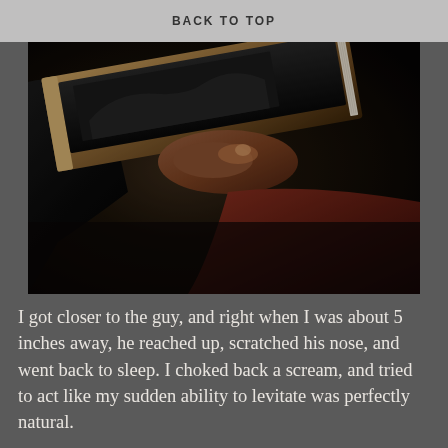BACK TO TOP
[Figure (photo): A dark, dimly lit photograph of a person holding an old book or album. The person is wearing dark clothing and appears to be seated on a dark red/maroon leather chair or couch. The book has a worn cover with what appears to be a photograph on it.]
I got closer to the guy, and right when I was about 5 inches away, he reached up, scratched his nose, and went back to sleep. I choked back a scream, and tried to act like my sudden ability to levitate was perfectly natural.